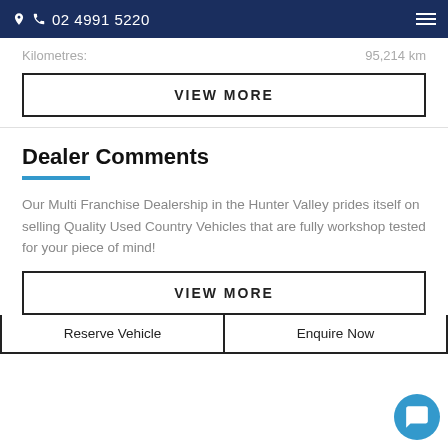02 4991 5220
Kilometres: 95,214 km
VIEW MORE
Dealer Comments
Our Multi Franchise Dealership in the Hunter Valley prides itself on selling Quality Used Country Vehicles that are fully workshop tested for your piece of mind!
VIEW MORE
Reserve Vehicle
Enquire Now